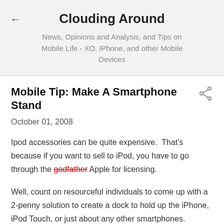Clouding Around
News, Opinions and Analysis, and Tips on Mobile Life - XO, iPhone, and other Mobile Devices
Mobile Tip: Make A Smartphone Stand
October 01, 2008
Ipod accessories can be quite expensive.  That's because if you want to sell to iPod, you have to go through the godfather Apple for licensing.
Well, count on resourceful individuals to come up with a 2-penny solution to create a dock to hold up the iPhone, iPod Touch, or just about any other smartphones.